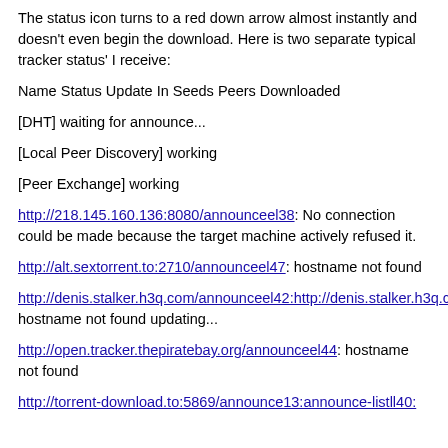The status icon turns to a red down arrow almost instantly and doesn't even begin the download. Here is two separate typical tracker status' I receive:
Name Status Update In Seeds Peers Downloaded
[DHT] waiting for announce...
[Local Peer Discovery] working
[Peer Exchange] working
http://218.145.160.136:8080/announceel38: No connection could be made because the target machine actively refused it.
http://alt.sextorrent.to:2710/announceel47: hostname not found
http://denis.stalker.h3q.com/announceel42:http://denis.stalker.h3q.com:6969/announceel44: hostname not found updating...
http://open.tracker.thepiratebay.org/announceel44: hostname not found
http://torrent-download.to:5869/announce13:announce-listll40: